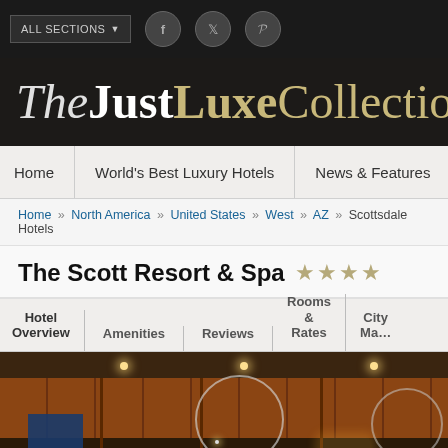ALL SECTIONS
TheJustLuxeCollection
Home | World's Best Luxury Hotels | News & Features | World
Home » North America » United States » West » AZ » Scottsdale Hotels
The Scott Resort & Spa ★★★★
Hotel Overview | Amenities | Reviews | Rooms & Rates | City Map
[Figure (photo): Interior lobby photo of The Scott Resort & Spa showing warm wood-paneled walls, recessed ceiling lights, globe pendant lights, and blue accent drapes]